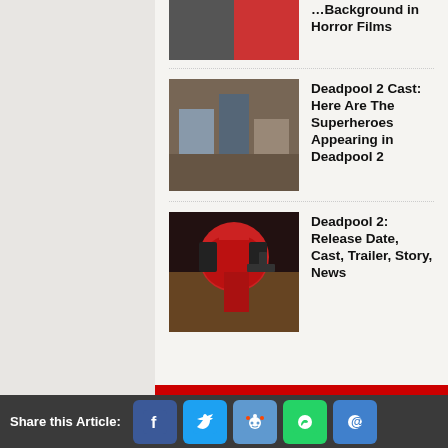[Figure (photo): Partial cropped photo of a person in red pants with others in background — horror film still]
…Background in Horror Films
[Figure (photo): Group of people in what appears to be a gun shop or action scene — Deadpool 2 cast photo]
Deadpool 2 Cast: Here Are The Superheroes Appearing in Deadpool 2
[Figure (photo): Deadpool character in red suit holding a gun in an action pose]
Deadpool 2: Release Date, Cast, Trailer, Story, News
The Best Free To Play Games
Share this Article: